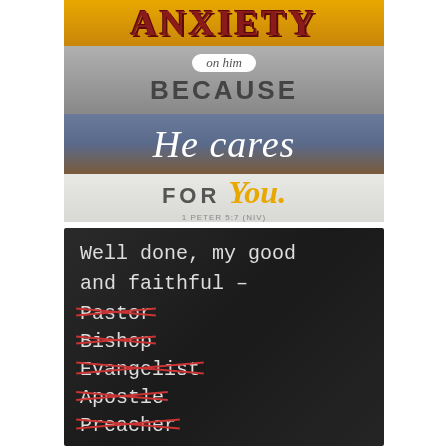[Figure (illustration): Decorative wooden sign with layered colored bands. Top yellow band: 'ANXIETY'. Gray band: 'on him' in pill/badge and 'BECAUSE' in bold. Blue band: 'He cares' in white italic script. White plank band: 'FOR You.' with 'You' in gold. Bottom reference: '1 PETER 5:7 (NIV)']
[Figure (illustration): Chalkboard sign reading 'Well done, my good and faithful –' followed by crossed-out words: 'Pastor', 'Bishop', 'Evangelist', 'Apostle', 'Preacher' (with red X marks through each)]